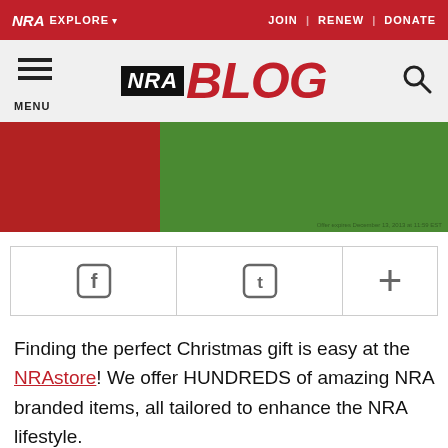NRA EXPLORE ▾  JOIN | RENEW | DONATE
[Figure (logo): NRA BLOG logo with hamburger menu and search icon on grey background]
[Figure (illustration): Christmas themed banner with red section on left and green section on right]
[Figure (infographic): Social sharing bar with Facebook, Twitter, and plus icons]
Finding the perfect Christmas gift is easy at the NRAstore! We offer HUNDREDS of amazing NRA branded items, all tailored to enhance the NRA lifestyle.